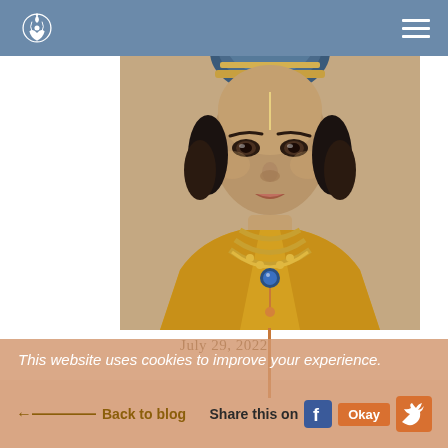[Figure (illustration): Painting of a divine Hindu figure (Krishna) wearing a blue crown and golden jewelry with yellow garments, shown from shoulders up against a warm background.]
July 29, 2022
This website uses cookies to improve your experience.
Back to blog
Share this on
Okay